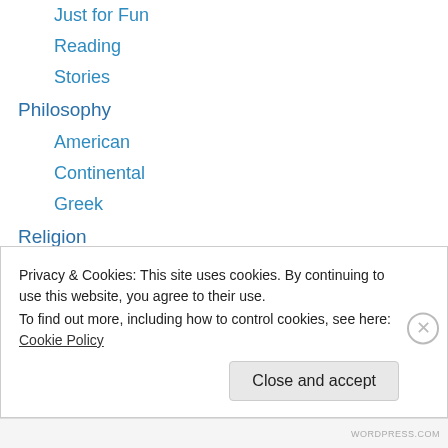Just for Fun
Reading
Stories
Philosophy
American
Continental
Greek
Religion
Bible
Christianity
Islam
Judaism
Pagan
Privacy & Cookies: This site uses cookies. By continuing to use this website, you agree to their use.
To find out more, including how to control cookies, see here: Cookie Policy
Close and accept